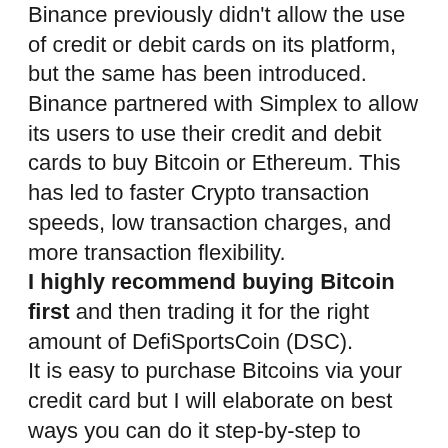Binance previously didn't allow the use of credit or debit cards on its platform, but the same has been introduced. Binance partnered with Simplex to allow its users to use their credit and debit cards to buy Bitcoin or Ethereum. This has led to faster Crypto transaction speeds, low transaction charges, and more transaction flexibility. I highly recommend buying Bitcoin first and then trading it for the right amount of DefiSportsCoin (DSC). It is easy to purchase Bitcoins via your credit card but I will elaborate on best ways you can do it step-by-step to make sure you understand all the trading nitty-gritty.
Move your mouse's cursor to 'Buy Crypto' tab found on the top bar and